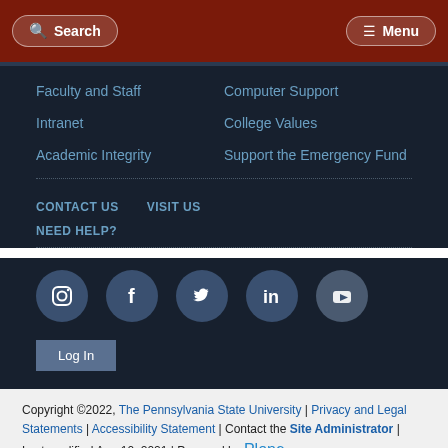Search | Menu
Faculty and Staff
Computer Support
Intranet
College Values
Academic Integrity
Support the Emergency Fund
CONTACT US
VISIT US
NEED HELP?
[Figure (infographic): Social media icons: Instagram, Facebook, Twitter, LinkedIn, YouTube]
Log In
Copyright ©2022, The Pennsylvania State University | Privacy and Legal Statements | Accessibility Statement | Contact the Site Administrator | Last modified Aug 10, 2021 | Powered by Plone
RETURN TO TOP